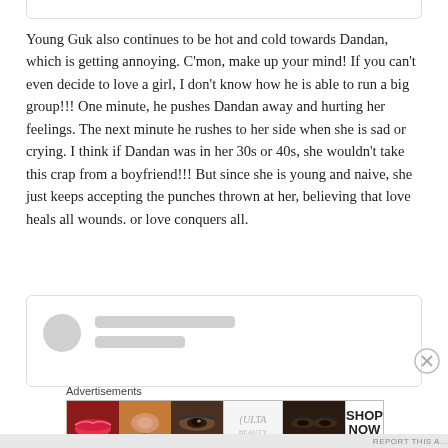Young Guk also continues to be hot and cold towards Dandan, which is getting annoying. C'mon, make up your mind! If you can't even decide to love a girl, I don't know how he is able to run a big group!!! One minute, he pushes Dandan away and hurting her feelings. The next minute he rushes to her side when she is sad or crying. I think if Dandan was in her 30s or 40s, she wouldn't take this crap from a boyfriend!!! But since she is young and naive, she just keeps accepting the punches thrown at her, believing that love heals all wounds. or love conquers all.
[Figure (other): Blurred comment card with avatar circle and two gray placeholder lines]
Advertisements
[Figure (other): Ulta Beauty advertisement banner showing makeup photos (lips, brush, eye, Ulta logo, eyes) with SHOP NOW button]